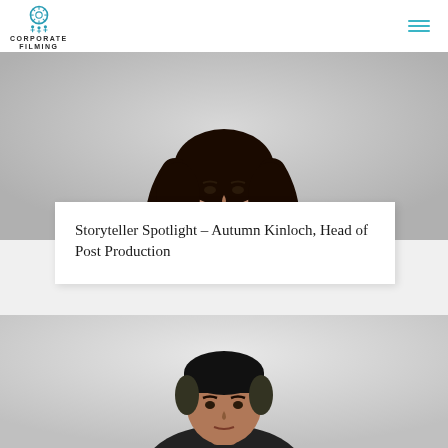CORPORATE FILMING
[Figure (photo): Professional headshot of a woman with long dark wavy hair wearing a black top, photographed against a light grey background. Upper body visible.]
Storyteller Spotlight – Autumn Kinloch, Head of Post Production
[Figure (photo): Professional headshot of a man with short dark hair wearing a dark top, photographed against a light grey background. Face and upper neck visible.]